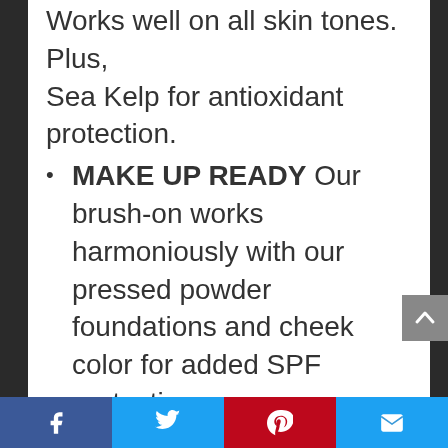Works well on all skin tones. Plus, Sea Kelp for antioxidant protection.
MAKE UP READY Our brush-on works harmoniously with our pressed powder foundations and cheek color for added SPF protection.
MINERAL FUSION offers a wide range of nail polish, hair care, body care, and skin care – each formulated to deliver the uniquely beneficial power of minerals.  All of our products are made in the USA.
MAKING BEAUTY HEALTHY We
[Social bar: Facebook | Twitter | Pinterest | Email]